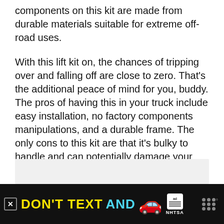components on this kit are made from durable materials suitable for extreme off-road uses.
With this lift kit on, the chances of tripping over and falling off are close to zero. That’s the additional peace of mind for you, buddy. The pros of having this in your truck include easy installation, no factory components manipulations, and a durable frame. The only cons to this kit are that it’s bulky to handle and can potentially damage your frame if installed incorrectly.
[Figure (other): Advertisement banner at bottom: black background with yellow text 'DON'T TEXT' and cyan text 'AND', red car emoji, ad badge, NHTSA logo, close button, and app logo dots on right.]